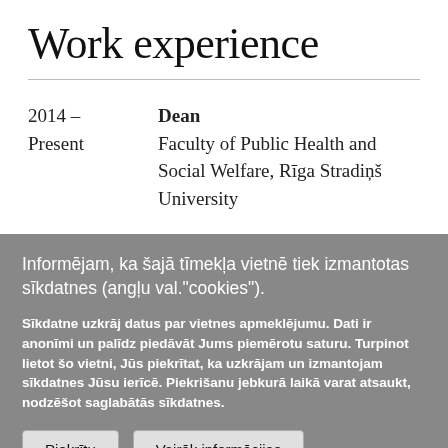Work experience
2014 –
Present
Dean
Faculty of Public Health and Social Welfare, Rīga Stradiņš University
Informējam, ka šajā tīmekļa vietnē tiek izmantotas sīkdatnes (angļu val."cookies").
Sīkdatne uzkrāj datus par vietnes apmeklējumu. Dati ir anonīmi un palīdz piedāvāt Jums piemērotu saturu. Turpinot lietot šo vietni, Jūs piekrītat, ka uzkrājam un izmantojam sīkdatnes Jūsu ierīcē. Piekrišanu jebkurā laikā varat atsaukt, nodzēšot saglabātās sīkdatnes.
Piekrītu
Vairāk informācijas